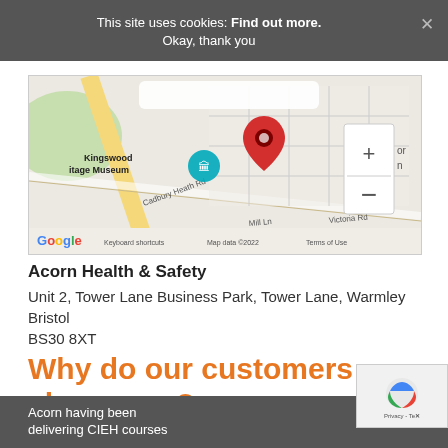This site uses cookies: Find out more. Okay, thank you
[Figure (map): Google Maps screenshot showing location near Kingswood Heritage Museum, with a red location pin, streets including Cadbury Heath Rd, Mill Ln, Victoria Rd, zoom controls (+/-), and Google branding with 'Keyboard shortcuts  Map data ©2022  Terms of Use']
Acorn Health & Safety
Unit 2, Tower Lane Business Park, Tower Lane, Warmley Bristol
BS30 8XT
Why do our customers choose us?
Acorn having been delivering CIEH courses